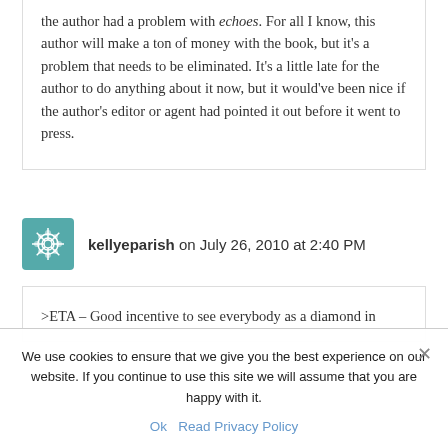the author had a problem with echoes. For all I know, this author will make a ton of money with the book, but it's a problem that needs to be eliminated. It's a little late for the author to do anything about it now, but it would've been nice if the author's editor or agent had pointed it out before it went to press.
kellyeparish on July 26, 2010 at 2:40 PM
>ETA – Good incentive to see everybody as a diamond in
We use cookies to ensure that we give you the best experience on our website. If you continue to use this site we will assume that you are happy with it.
Ok   Read Privacy Policy